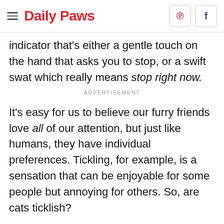Daily Paws
indicator that's either a gentle touch on the hand that asks you to stop, or a swift swat which really means stop right now.
ADVERTISEMENT
It's easy for us to believe our furry friends love all of our attention, but just like humans, they have individual preferences. Tickling, for example, is a sensation that can be enjoyable for some people but annoying for others. So, are cats ticklish?
"Cats can be ticklish but, since they don't laugh, they show it in different ways," says